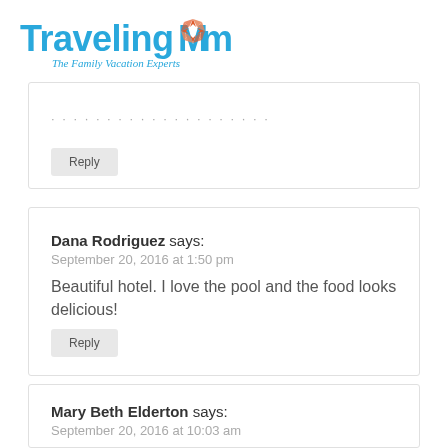[Figure (logo): TravelingMom logo with compass rose and tagline 'The Family Vacation Experts']
Reply
Dana Rodriguez says:
September 20, 2016 at 1:50 pm
Beautiful hotel. I love the pool and the food looks delicious!
Reply
Mary Beth Elderton says:
September 20, 2016 at 10:03 am